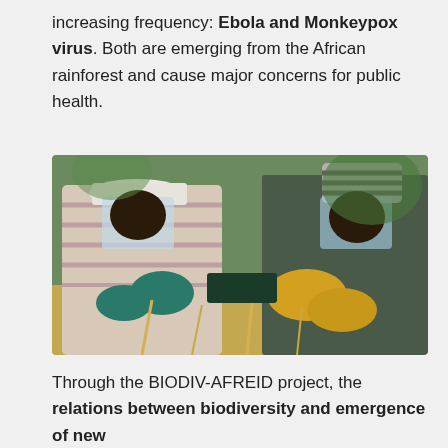increasing frequency: Ebola and Monkeypox virus. Both are emerging from the African rainforest and cause major concerns for public health.
[Figure (photo): Two researchers wearing protective gear (face shields, gloves) examining or collecting a sample in an outdoor African rainforest/field setting. One wears a striped shirt with white hat and teal gloves; the other wears a striped beanie and yellow gloves.]
Through the BIODIV-AFREID project, the relations between biodiversity and emergence of new